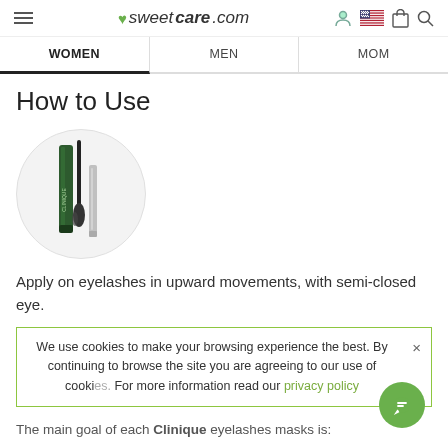sweetcare.com — WOMEN | MEN | MOM
How to Use
[Figure (photo): Clinique mascara product with applicator brush displayed inside a circular frame]
Apply on eyelashes in upward movements, with semi-closed eye.
We use cookies to make your browsing experience the best. By continuing to browse the site you are agreeing to our use of cookies. For more information read our privacy policy
The main goal of each Clinique eyelashes masks is: